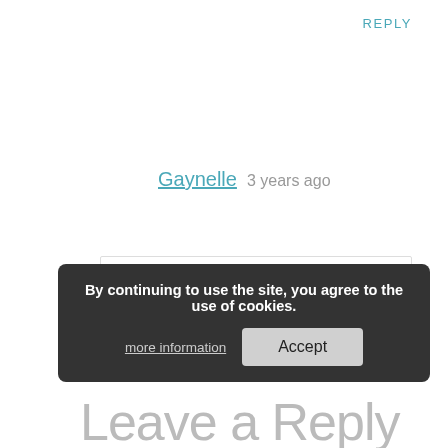REPLY
Gaynelle  3 years ago
Sound so Great! I will subscribe to that author and his future books.
REPLY
Pingback: Is it correct to connect upper case cursive letters to lower case ones? - The Jellyfish Restaurant & Bar
By continuing to use the site, you agree to the use of cookies.
more information
Accept
Leave a Reply